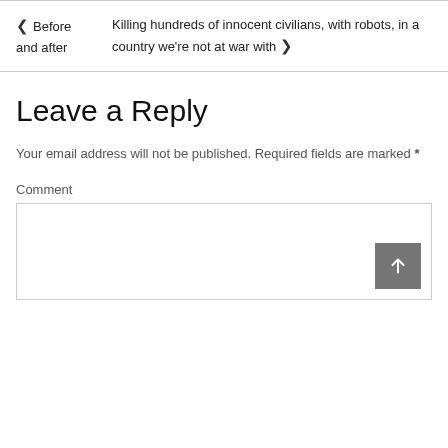◄ Before and after   Killing hundreds of innocent civilians, with robots, in a country we're not at war with ►
Leave a Reply
Your email address will not be published. Required fields are marked *
Comment